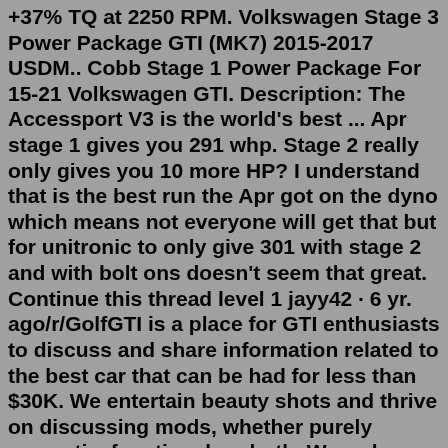+37% TQ at 2250 RPM. Volkswagen Stage 3 Power Package GTI (MK7) 2015-2017 USDM.. Cobb Stage 1 Power Package For 15-21 Volkswagen GTI. Description: The Accessport V3 is the world's best ... Apr stage 1 gives you 291 whp. Stage 2 really only gives you 10 more HP? I understand that is the best run the Apr got on the dyno which means not everyone will get that but for unitronic to only give 301 with stage 2 and with bolt ons doesn't seem that great. Continue this thread level 1 jayy42 · 6 yr. ago/r/GolfGTI is a place for GTI enthusiasts to discuss and share information related to the best car that can be had for less than $30K. We entertain beauty shots and thrive on discussing mods, whether purely cosmetic, functional, or both. We welcome discussion of all things GTI.Stage 1 GTI/A3 - 270-310whp Stage 1 Golf R/S3 - 300-360whp; Stage 2: GTI/A3 - 300-340whp Stage 2 Golf R/S3 - 330-390whp; Here are just a couple of examples of our tunes. Please note that these results were acquired on our Dynocom chassis dyno in 2WD mode and close to